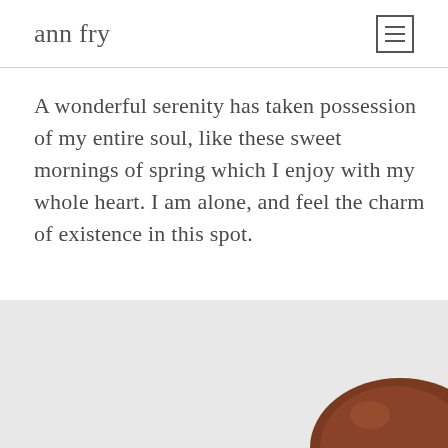ann fry
A wonderful serenity has taken possession of my entire soul, like these sweet mornings of spring which I enjoy with my whole heart. I am alone, and feel the charm of existence in this spot.
[Figure (photo): Bottom portion of the page showing a light grey background with a dark brown rounded object (possibly a stone or ceramic piece) partially visible in the lower right corner.]